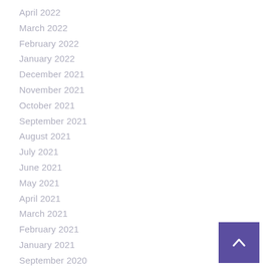April 2022
March 2022
February 2022
January 2022
December 2021
November 2021
October 2021
September 2021
August 2021
July 2021
June 2021
May 2021
April 2021
March 2021
February 2021
January 2021
September 2020
February 2020
January 2020
December 2019
October 2019
[Figure (other): Back to top button — purple square with white upward chevron arrow]